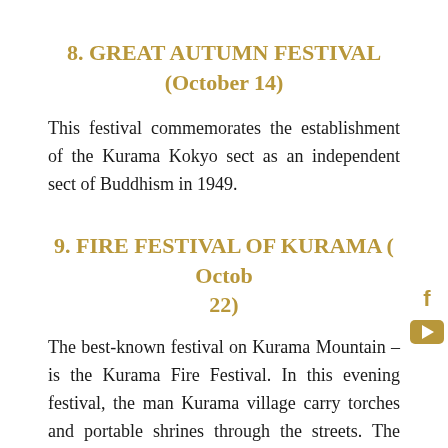8. GREAT AUTUMN FESTIVAL (October 14)
This festival commemorates the establishment of the Kurama Kokyo sect as an independent sect of Buddhism in 1949.
9. FIRE FESTIVAL OF KURAMA ( October 22)
The best-known festival on Kurama Mountain – is the Kurama Fire Festival. In this evening festival, the man Kurama village carry torches and portable shrines through the streets. The torches are carried